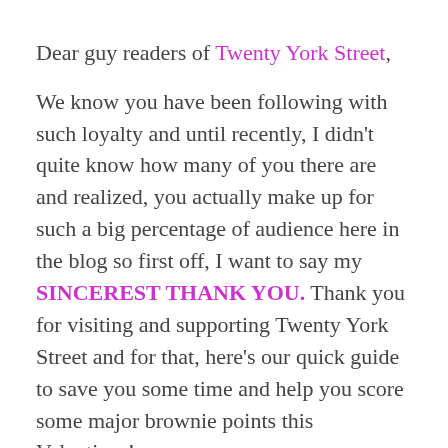Dear guy readers of Twenty York Street,
We know you have been following with such loyalty and until recently, I didn't quite know how many of you there are and realized, you actually make up for such a big percentage of audience here in the blog so first off, I want to say my SINCEREST THANK YOU. Thank you for visiting and supporting Twenty York Street and for that, here's our quick guide to save you some time and help you score some major brownie points this Valentines!
Is reservation for that candlelit romantic dinner done? Good.  Is your outfit or her outfit picked out?